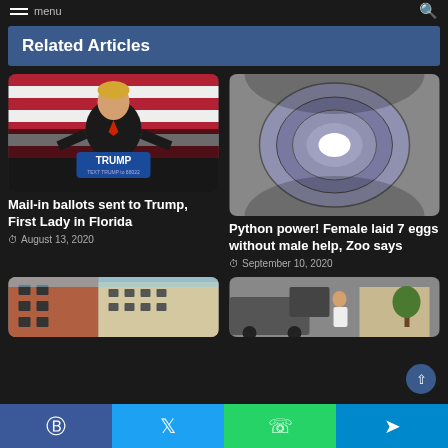menu
Related Articles
[Figure (photo): Donald Trump speaking at a podium with a TRUMP sign, in front of American flag background]
Mail-in ballots sent to Trump, First Lady in Florida
August 13, 2020
[Figure (photo): A coiled python snake, dark grey/purple coloring, viewed from above]
Python power! Female laid 7 eggs without male help, Zoo says
September 10, 2020
[Figure (photo): Brick and tan apartment building exterior]
[Figure (photo): Street scene with a man standing near a vehicle]